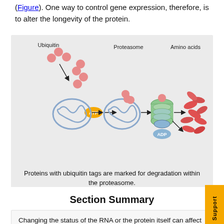(Figure). One way to control gene expression, therefore, is to alter the longevity of the protein.
[Figure (illustration): Diagram showing protein degradation pathway: unfolded protein is tagged with ubiquitin molecules using ATP, then enters the proteasome barrel structure, producing ADP and amino acids as output.]
Proteins with ubiquitin tags are marked for degradation within the proteasome.
Section Summary
Changing the status of the RNA or the protein itself can affect the amount of protein, the function of the protein, or how long it is found in the cell. To translate